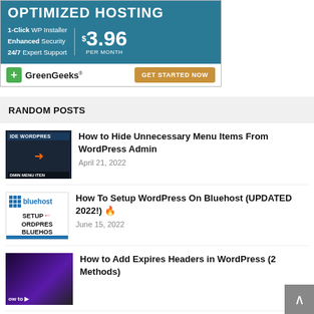[Figure (screenshot): GreenGeeks web hosting advertisement banner. Dark teal background with text: OPTIMIZED HOSTING, 1-Click WP Installer, Enhanced Security, 24/7 Expert Support, $3.96 PER MONTH. Bottom section shows GreenGeeks logo with green plus icon and GET STARTED NOW button.]
RANDOM POSTS
[Figure (screenshot): Thumbnail for 'How to Hide Unnecessary Menu Items From WordPress Admin' post showing dark background with orange arrow and text HIDE WORDPRESS ADMIN MENU ITEMS.]
How to Hide Unnecessary Menu Items From WordPress Admin
April 21, 2022
[Figure (screenshot): Thumbnail for Bluehost setup WordPress post showing Bluehost logo, SETUP WORDPRESS BLUEHOST text with red arrow, and blue bar at bottom.]
How To Setup WordPress On Bluehost (UPDATED 2022!) 🔥
June 15, 2022
[Figure (screenshot): Thumbnail for 'How to Add Expires Headers in WordPress' showing dark purple/galaxy background with partial text.]
How to Add Expires Headers in WordPress (2 Methods)